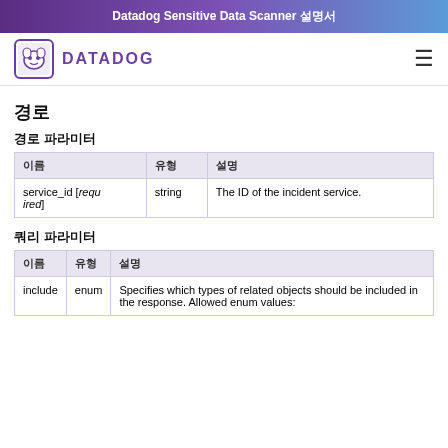Datadog Sensitive Data Scanner 설명서
[Figure (logo): Datadog logo with dog icon and purple DATADOG text]
경로
경로 파라미터
| 이름 | 유형 | 설명 |
| --- | --- | --- |
| service_id [required] | string | The ID of the incident service. |
쿼리 파라미터
| 이름 | 유형 | 설명 |
| --- | --- | --- |
| include | enum | Specifies which types of related objects should be included in the response. Allowed enum values: |